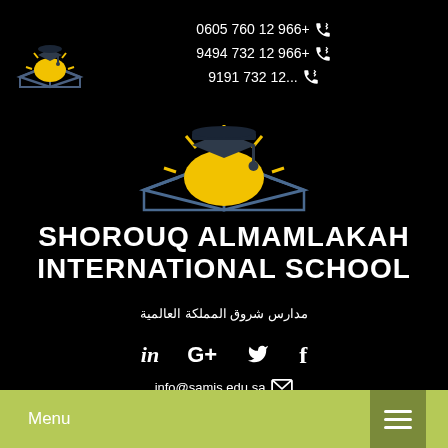[Figure (logo): Small Shorouq Almamlakah school logo in top left corner - graduation cap over open book with yellow sun, dark background]
0605 760 12 966+ 📞
9494 732 12 966+ 📞
9191 732 12... 📞
[Figure (logo): Large centered Shorouq Almamlakah school logo - graduation cap over open book with yellow semicircle sun and radiating lines on black background]
SHOROUQ ALMAMLAKAH INTERNATIONAL SCHOOL
مدارس شروق المملكة العالمية
[Figure (infographic): Social media icons row: LinkedIn (in), Google+ (G+), Twitter bird, Facebook (f)]
info@samis.edu.sa ✉
Menu ☰